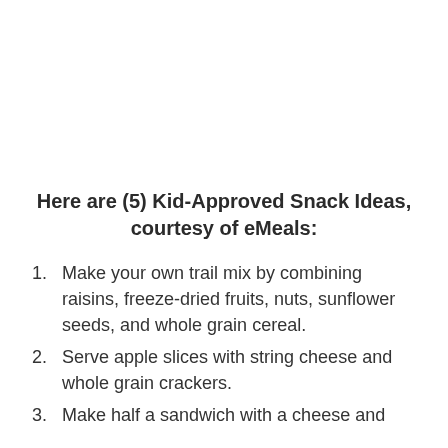Here are (5) Kid-Approved Snack Ideas, courtesy of eMeals:
Make your own trail mix by combining raisins, freeze-dried fruits, nuts, sunflower seeds, and whole grain cereal.
Serve apple slices with string cheese and whole grain crackers.
Make half a sandwich with a cheese and...